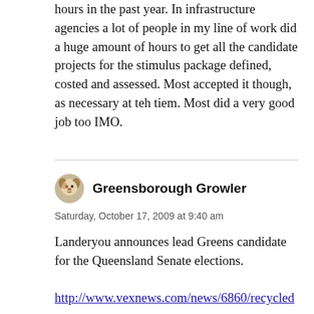hours in the past year. In infrastructure agencies a lot of people in my line of work did a huge amount of hours to get all the candidate projects for the stimulus package defined, costed and assessed. Most accepted it though, as necessary at teh tiem. Most did a very good job too IMO.
Greensborough Growler
Saturday, October 17, 2009 at 9:40 am
Landeryou announces lead Greens candidate for the Queensland Senate elections.
http://www.vexnews.com/news/6860/recycled